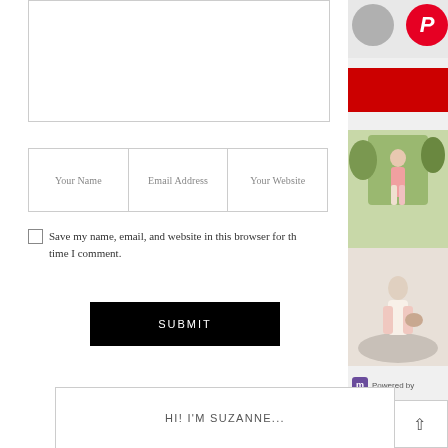[Figure (screenshot): Comment form text area (large input box, partially visible at top)]
[Figure (screenshot): Three input fields: Your Name, Email Address, Your Website]
Save my name, email, and website in this browser for the next time I comment.
[Figure (screenshot): SUBMIT button, black background with white text]
[Figure (screenshot): Right sidebar with profile photo circle, Pinterest logo circle, red button, two fashion photos, Powered by widget, and up-arrow box]
HI! I'M SUZANNE...